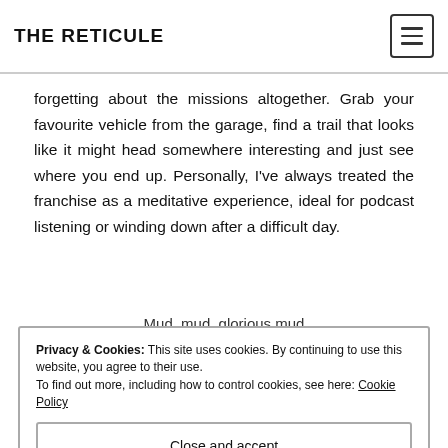THE RETICULE
forgetting about the missions altogether. Grab your favourite vehicle from the garage, find a trail that looks like it might head somewhere interesting and just see where you end up. Personally, I’ve always treated the franchise as a meditative experience, ideal for podcast listening or winding down after a difficult day.
Mud, mud, glorious mud
Privacy & Cookies: This site uses cookies. By continuing to use this website, you agree to their use.
To find out more, including how to control cookies, see here: Cookie Policy
Close and accept
target audience may be niche, but what it sets out to